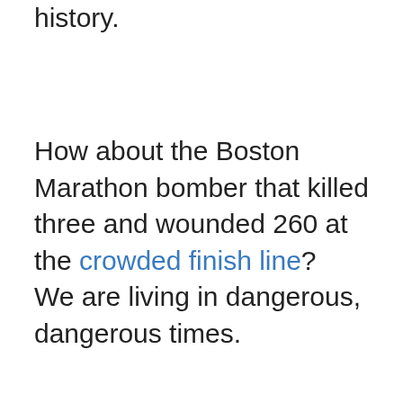history.
How about the Boston Marathon bomber that killed three and wounded 260 at the crowded finish line?
We are living in dangerous, dangerous times.